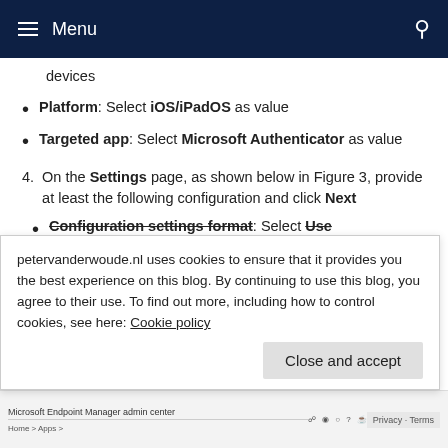≡ Menu
devices
Platform: Select iOS/iPadOS as value
Targeted app: Select Microsoft Authenticator as value
4. On the Settings page, as shown below in Figure 3, provide at least the following configuration and click Next
Configuration settings format: Select Use...
petervanderwoude.nl uses cookies to ensure that it provides you the best experience on this blog. By continuing to use this blog, you agree to their use. To find out more, including how to control cookies, see here: Cookie policy
Close and accept
[Figure (screenshot): Microsoft Endpoint Manager admin center browser screenshot showing breadcrumb navigation, toolbar icons, and Privacy - Terms label.]